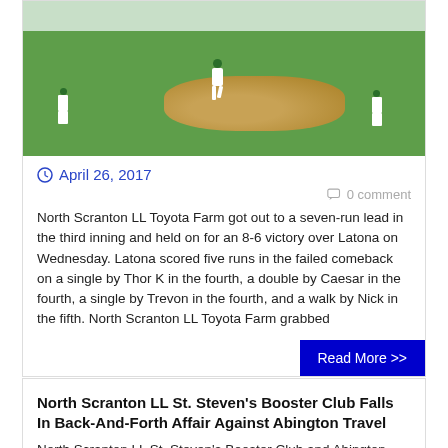[Figure (photo): Baseball field photo showing players on a green grass field with a pitching mound, dirt infield area. Players in white uniforms with green/orange accents visible.]
April 26, 2017
0 comment
North Scranton LL Toyota Farm got out to a seven-run lead in the third inning and held on for an 8-6 victory over Latona on Wednesday. Latona scored five runs in the failed comeback on a single by Thor K in the fourth, a double by Caesar in the fourth, a single by Trevon in the fourth, and a walk by Nick in the fifth. North Scranton LL Toyota Farm grabbed
Read More >>
North Scranton LL St. Steven's Booster Club Falls In Back-And-Forth Affair Against Abington Travel
North Scranton LL St. Steven's Booster Club and Abington Travel passed the lead back-and-forth on Monday, but